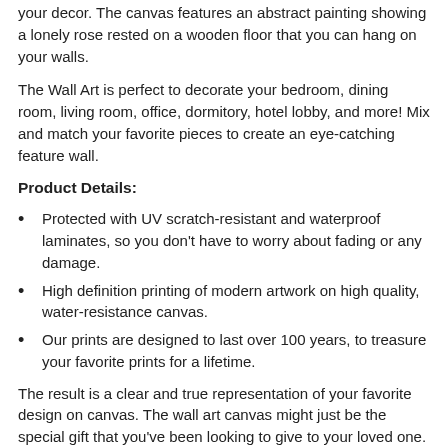your decor. The canvas features an abstract painting showing a lonely rose rested on a wooden floor that you can hang on your walls.
The Wall Art is perfect to decorate your bedroom, dining room, living room, office, dormitory, hotel lobby, and more! Mix and match your favorite pieces to create an eye-catching feature wall.
Product Details:
Protected with UV scratch-resistant and waterproof laminates, so you don't have to worry about fading or any damage.
High definition printing of modern artwork on high quality, water-resistance canvas.
Our prints are designed to last over 100 years, to treasure your favorite prints for a lifetime.
The result is a clear and true representation of your favorite design on canvas. The wall art canvas might just be the special gift that you've been looking to give to your loved one.